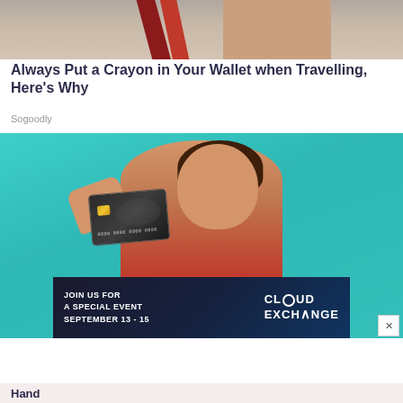[Figure (photo): Top portion of an image showing a wallet with red/dark items, likely a crayon]
Always Put a Crayon in Your Wallet when Travelling, Here's Why
Sogoodly
[Figure (photo): Woman holding a dark credit card over one eye, against a teal background, wearing a red sweater]
[Figure (infographic): Advertisement banner: JOIN US FOR A SPECIAL EVENT SEPTEMBER 13 - 15, CLOUD EXCHANGE logo]